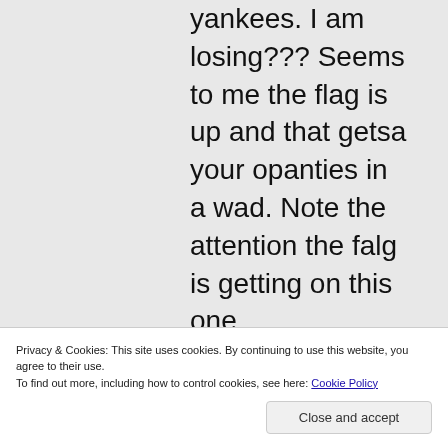yankees. I am losing??? Seems to me the flag is up and that getsa your opanties in a wad. Note the attention the falg is getting on this one
Privacy & Cookies: This site uses cookies. By continuing to use this website, you agree to their use. To find out more, including how to control cookies, see here: Cookie Policy
Close and accept